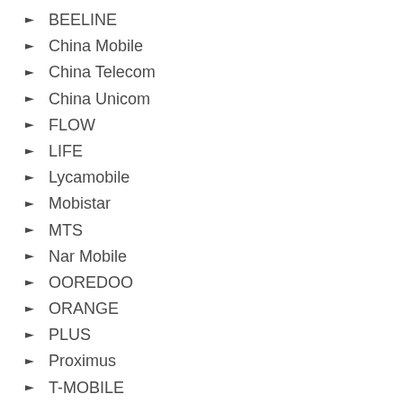BEELINE
China Mobile
China Telecom
China Unicom
FLOW
LIFE
Lycamobile
Mobistar
MTS
Nar Mobile
OOREDOO
ORANGE
PLUS
Proximus
T-MOBILE
Telekom Albania